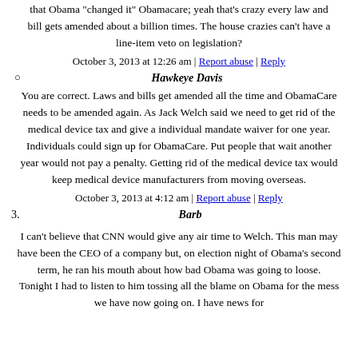that Obama "changed it" Obamacare; yeah that's crazy every law and bill gets amended about a billion times. The house crazies can't have a line-item veto on legislation?
October 3, 2013 at 12:26 am | Report abuse | Reply
Hawkeye Davis
You are correct. Laws and bills get amended all the time and ObamaCare needs to be amended again. As Jack Welch said we need to get rid of the medical device tax and give a individual mandate waiver for one year. Individuals could sign up for ObamaCare. Put people that wait another year would not pay a penalty. Getting rid of the medical device tax would keep medical device manufacturers from moving overseas.
October 3, 2013 at 4:12 am | Report abuse | Reply
3. Barb
I can't believe that CNN would give any air time to Welch. This man may have been the CEO of a company but, on election night of Obama's second term, he ran his mouth about how bad Obama was going to loose. Tonight I had to listen to him tossing all the blame on Obama for the mess we have now going on. I have news for